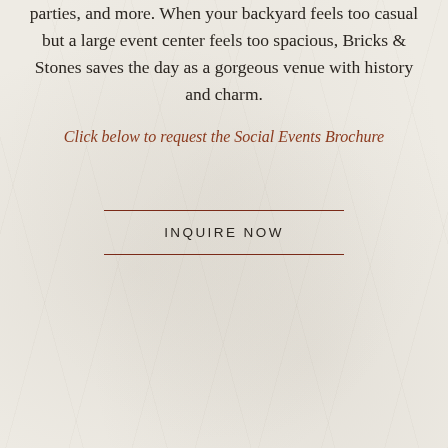parties, and more. When your backyard feels too casual but a large event center feels too spacious, Bricks & Stones saves the day as a gorgeous venue with history and charm.
Click below to request the Social Events Brochure
INQUIRE NOW